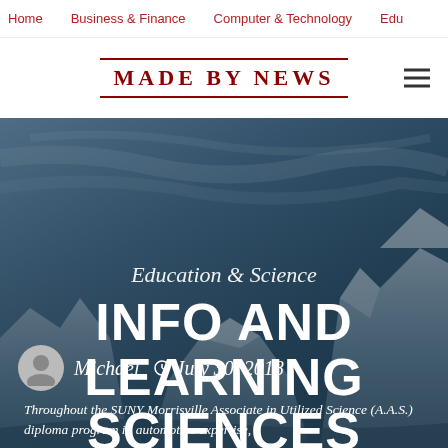Home  Business & Finance  Computer & Technology  Edu
[Figure (logo): Made By News logo with serif uppercase text and double rule borders]
[Figure (photo): Hero background image of icy mountain landscape with blue-grey tones]
Education & Science
INFO AND LEARNING SCIENCES
Michael  July 30, 2018
Throughout the SUNY Morrisville Associate in Utilized Science (A.A.S.) diploma program in automotive expertise,